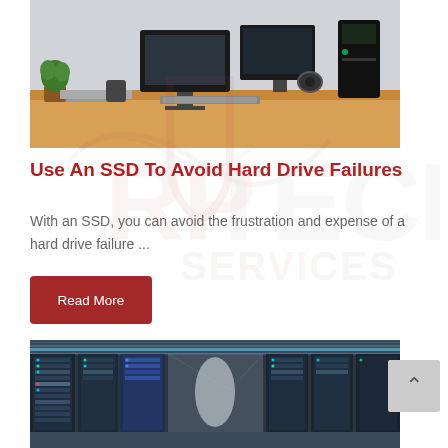[Figure (photo): A computer desk setup with monitors, a gaming PC tower, headphones, keyboard, laptop, and a small plant on a wooden desk surface.]
Use An SSD To Avoid Hard Drive Failures
With an SSD, you can avoid the frustration and expense of a hard drive failure ...
[Figure (other): A 'Read More' button with dark red background and white text.]
[Figure (photo): Interior of a large data center showing rows of server racks with blue lighting extending into the distance.]